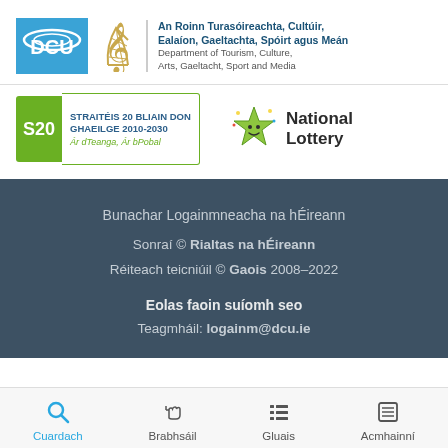[Figure (logo): DCU logo, Irish government harp logo, and Department of Tourism, Culture, Arts, Gaeltacht, Sport and Media text]
[Figure (logo): S20 Straitéis 20 Bliain don Ghaeilge 2010-2030 logo and National Lottery logo]
Bunachar Logainmneacha na hÉireann
Sonraí © Rialtas na hÉireann
Réiteach teicniúil © Gaois 2008–2022
Eolas faoin suíomh seo
Teagmháil: logainm@dcu.ie
Cuardach  Brabhsáil  Gluais  Acmhainní